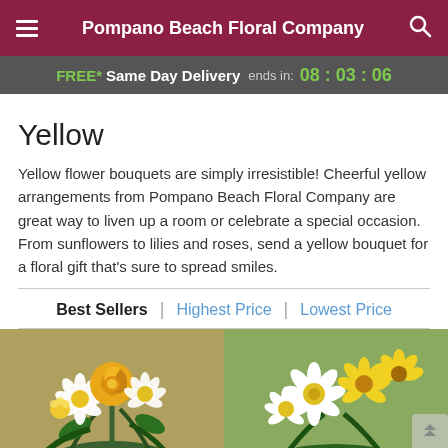Pompano Beach Floral Company
FREE* Same Day Delivery ends in: 08:03:06
Yellow
Yellow flower bouquets are simply irresistible! Cheerful yellow arrangements from Pompano Beach Floral Company are great way to liven up a room or celebrate a special occasion. From sunflowers to lilies and roses, send a yellow bouquet for a floral gift that's sure to spread smiles.
Best Sellers | Highest Price | Lowest Price
[Figure (photo): Two yellow and white flower bouquet photos side by side, showing arrangements with yellow roses, daisies, and white flowers]